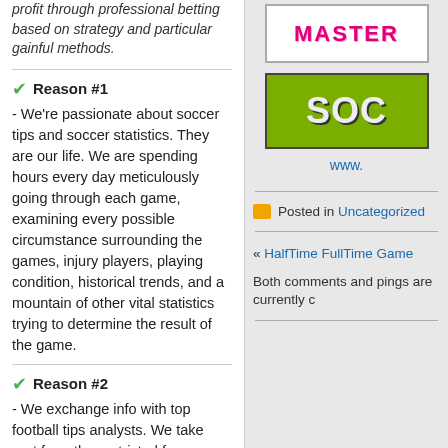profit through professional betting based on strategy and particular gainful methods.
Reason #1
- We're passionate about soccer tips and soccer statistics. They are our life. We are spending hours every day meticulously going through each game, examining every possible circumstance surrounding the games, injury players, playing condition, historical trends, and a mountain of other vital statistics trying to determine the result of the game.
Reason #2
- We exchange info with top football tips analysts. We take part from the restricted forums, were the normal guy can't take part. We have partners in countries like: Greece, Italy
[Figure (logo): MASTER logo text in pink/magenta on white background]
[Figure (logo): SOC... logo in grey letters on green background]
www...
Posted in Uncategorized
« HalfTime FullTime Game
Both comments and pings are currently...